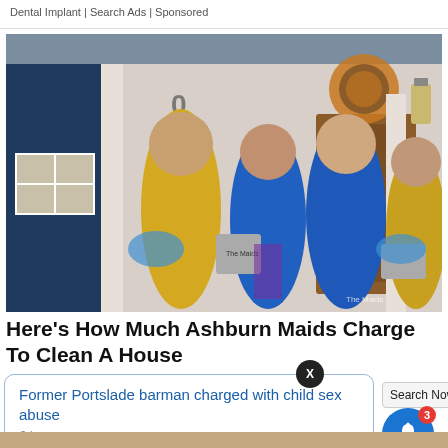Dental Implant | Search Ads | Sponsored
[Figure (photo): Four women in blue and yellow uniforms (The Maids cleaning service) posing in front of a house entrance with a decorative wreath on the door. Two hold cleaning supply buckets.]
Here's How Much Ashburn Maids Charge To Clean A House
Former Portslade barman charged with child sex abuse
3 hours ago
Search Now